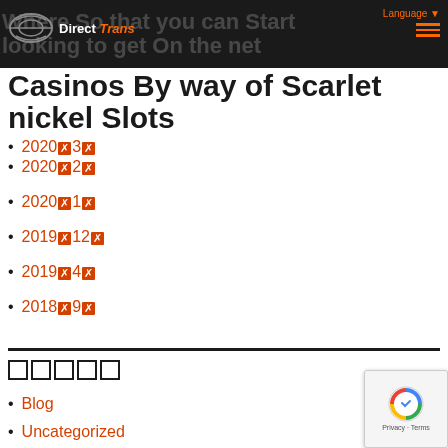Where So that you can Start looking to get On the net Casinos By way of Scarlet nickel Slots — Direct Trans (logo/nav header)
Casinos By way of Scarlet nickel Slots
2020年3月
2020年2月
2020年1月
2019年12月
2019年4月
2018年9月
カテゴリー
Blog
Uncategorized